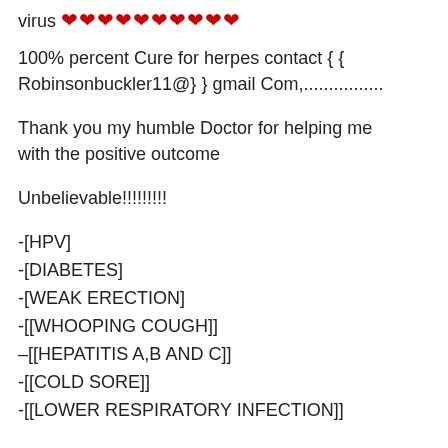virus ❤❤❤❤❤❤❤❤❤❤
100% percent Cure for herpes contact { { Robinsonbuckler11@} } gmail Com,................
Thank you my humble Doctor for helping me with the positive outcome
Unbelievable!!!!!!!!!
-[HPV]
-[DIABETES]
-[WEAK ERECTION]
-[[WHOOPING COUGH]]
-[[HEPATITIS A,B AND C]]
-[[COLD SORE]]
-[[LOWER RESPIRATORY INFECTION]]